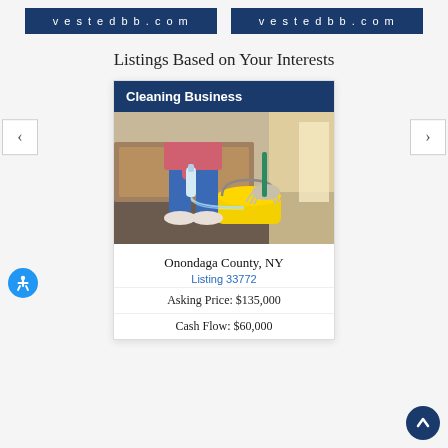vestedbb.com  |  vestedbb.com
Listings Based on Your Interests
[Figure (illustration): Cleaning business listing card showing a person pouring cleaning liquid into a yellow mop bucket, with a category header 'Cleaning Business']
Onondaga County, NY
Listing 33772
Asking Price: $135,000
Cash Flow: $60,000